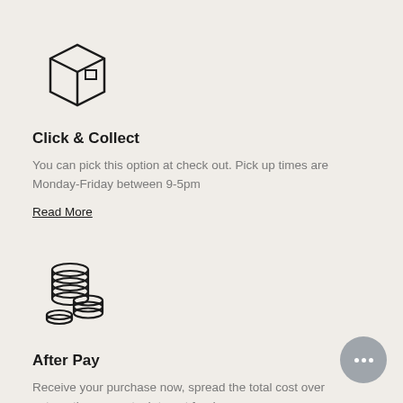[Figure (illustration): Line-art icon of a cardboard delivery box with a small square window on the side]
Click & Collect
You can pick this option at check out. Pick up times are Monday-Friday between 9-5pm
Read More
[Figure (illustration): Line-art icon of stacked coins/money piles]
After Pay
Receive your purchase now, spread the total cost over automatic payments. Interest free!